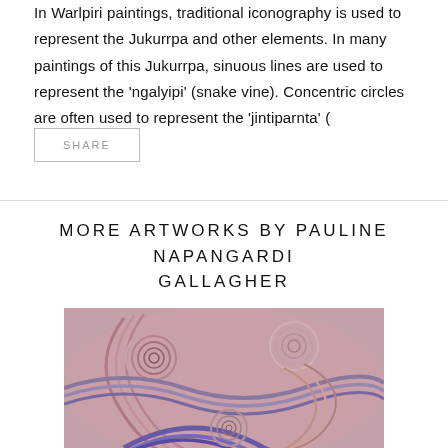In Warlpiri paintings, traditional iconography is used to represent the Jukurrpa and other elements. In many paintings of this Jukurrpa, sinuous lines are used to represent the 'ngalyipi' (snake vine). Concentric circles are often used to represent the 'jintiparnta' (
SHARE
MORE ARTWORKS BY PAULINE NAPANGARDI GALLAGHER
[Figure (photo): Aboriginal dot painting / swirling pattern artwork with pink, mauve, purple and blue sinuous lines and concentric circles]